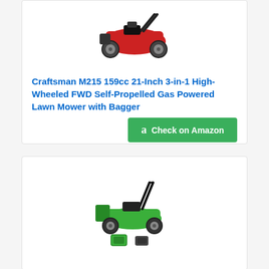[Figure (photo): Red and black Craftsman M215 gas-powered self-propelled lawn mower viewed from front-right angle]
Craftsman M215 159cc 21-Inch 3-in-1 High-Wheeled FWD Self-Propelled Gas Powered Lawn Mower with Bagger
[Figure (other): Green Amazon Check on Amazon button with Amazon 'a' logo]
[Figure (photo): Green Greenworks electric/battery-powered lawn mower with battery pack and charger accessories shown below]